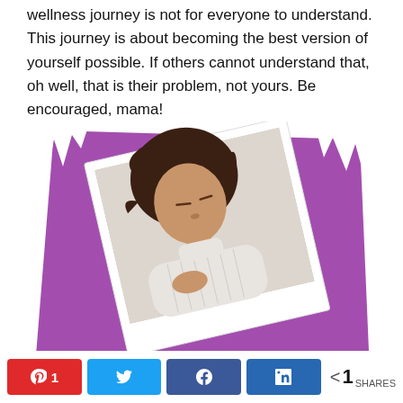wellness journey is not for everyone to understand. This journey is about becoming the best version of yourself possible. If others cannot understand that, oh well, that is their problem, not yours. Be encouraged, mama!
[Figure (photo): A polaroid-style photo of a woman with curly hair, eyes closed, wearing a white turtleneck sweater, set against a purple torn-paper background]
Pinterest 1 | Tweet | Share | LinkedIn Share | < 1 SHARES